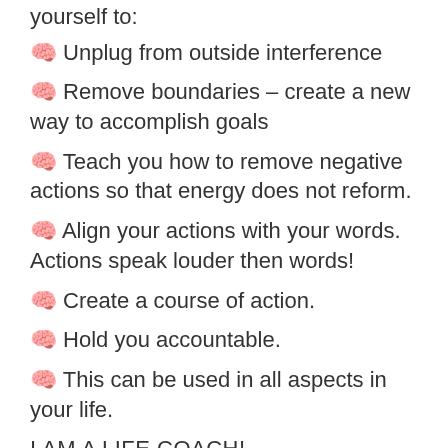yourself to:
🧠 Unplug from outside interference
🧠 Remove boundaries – create a new way to accomplish goals
🧠 Teach you how to remove negative actions so that energy does not reform.
🧠 Align your actions with your words. Actions speak louder then words!
🧠 Create a course of action.
🧠 Hold you accountable.
🧠 This can be used in all aspects in your life.
I AM A LIFE COACH!